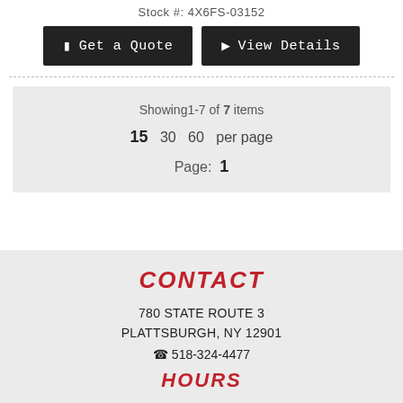Stock #: 4X6FS-03152
Get a Quote
View Details
Showing1-7 of 7 items
15  30  60  per page
Page:  1
CONTACT
780 STATE ROUTE 3
PLATTSBURGH, NY 12901
☎ 518-324-4477
HOURS